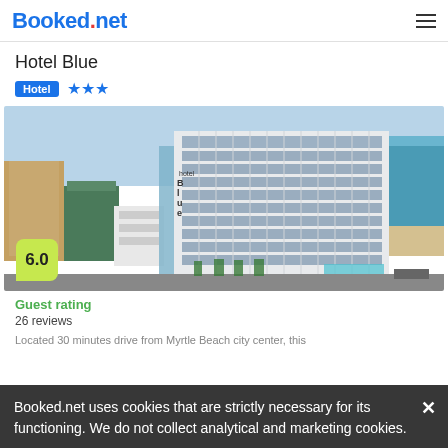Booked.net
Hotel Blue
Hotel ★★★
[Figure (photo): Aerial photo of Hotel Blue, a tall white hotel building with blue-tinted windows near Myrtle Beach shore, with ocean visible in background and surrounding buildings.]
6.0
Guest rating
26 reviews
Located 30 minutes drive from Myrtle Beach city center, this
Booked.net uses cookies that are strictly necessary for its functioning. We do not collect analytical and marketing cookies.
from  us$ 219 /night   SELECT